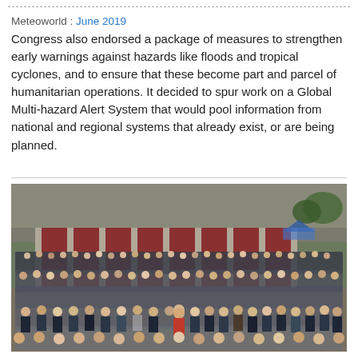Meteoworld : June 2019
Congress also endorsed a package of measures to strengthen early warnings against hazards like floods and tropical cyclones, and to ensure that these become part and parcel of humanitarian operations. It decided to spur work on a Global Multi-hazard Alert System that would pool information from national and regional systems that already exist, or are being planned.
[Figure (photo): Large group photo of congress delegates and officials standing in rows outside a building with red-paneled facade and columns, trees visible in background.]